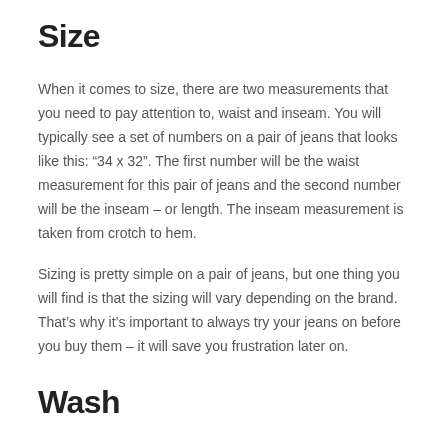Size
When it comes to size, there are two measurements that you need to pay attention to, waist and inseam. You will typically see a set of numbers on a pair of jeans that looks like this: “34 x 32”. The first number will be the waist measurement for this pair of jeans and the second number will be the inseam – or length. The inseam measurement is taken from crotch to hem.
Sizing is pretty simple on a pair of jeans, but one thing you will find is that the sizing will vary depending on the brand. That’s why it’s important to always try your jeans on before you buy them – it will save you frustration later on.
Wash
There are several types of washes available to choose